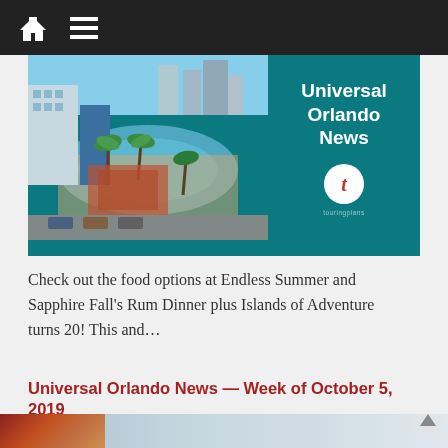Navigation bar with home and menu icons
[Figure (screenshot): Banner image showing Universal Orlando News — an aerial resort pool/hotel scene on the left, and teal panel with 'Universal Orlando News' text and logo on the right]
Check out the food options at Endless Summer and Sapphire Fall's Rum Dinner plus Islands of Adventure turns 20! This and…
Universal Orlando News — Week of October 5, 2019
[Figure (photo): Partial image visible at bottom — left portion shows red/orange tones, right portion shows a city/resort skyline]